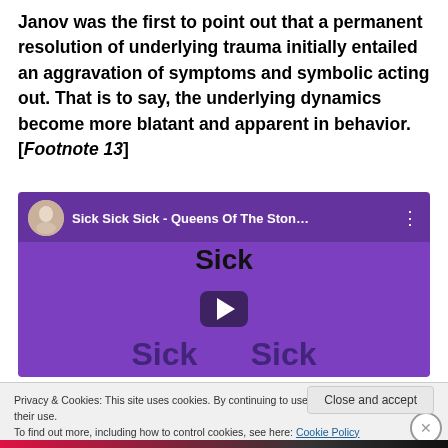Janov was the first to point out that a permanent resolution of underlying trauma initially entailed an aggravation of symptoms and symbolic acting out. That is to say, the underlying dynamics become more blatant and apparent in behavior. [Footnote 13]
[Figure (screenshot): YouTube video thumbnail for 'Sick Sick Sick - Queens Of The Ston...' with purple background and play button overlay]
Privacy & Cookies: This site uses cookies. By continuing to use this website, you agree to their use.
To find out more, including how to control cookies, see here: Cookie Policy